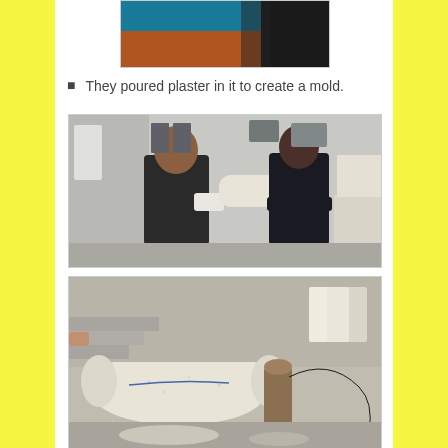[Figure (photo): Partial top of a photo visible at top of page showing colorful background]
They poured plaster in it to create a mold.
[Figure (photo): Two people in a prosthetics lab; a man in black wearing gloves works on a prosthetic limb while a woman in black watches with arms crossed]
[Figure (photo): A plaster mold of a limb sitting on a table in a prosthetics lab]